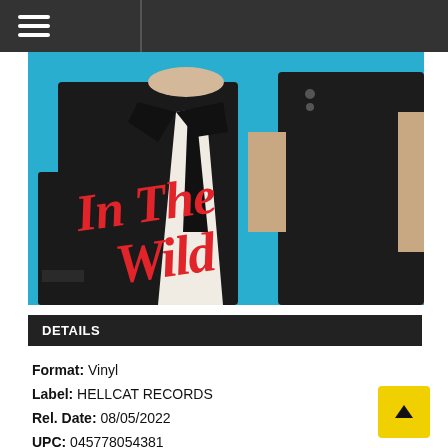[Figure (photo): Album cover for 'In The Wild' — two people dressed in black against a bright cyan/blue background, with red brush-script text reading 'In The Wild' overlaid on the image]
DETAILS
Format: Vinyl
Label: HELLCAT RECORDS
Rel. Date: 08/05/2022
UPC: 045778054381